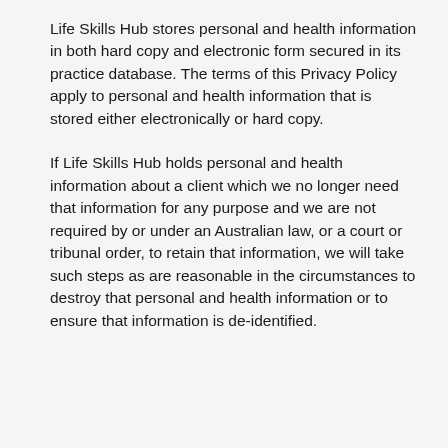Life Skills Hub stores personal and health information in both hard copy and electronic form secured in its practice database. The terms of this Privacy Policy apply to personal and health information that is stored either electronically or hard copy.
If Life Skills Hub holds personal and health information about a client which we no longer need that information for any purpose and we are not required by or under an Australian law, or a court or tribunal order, to retain that information, we will take such steps as are reasonable in the circumstances to destroy that personal and health information or to ensure that information is de-identified.